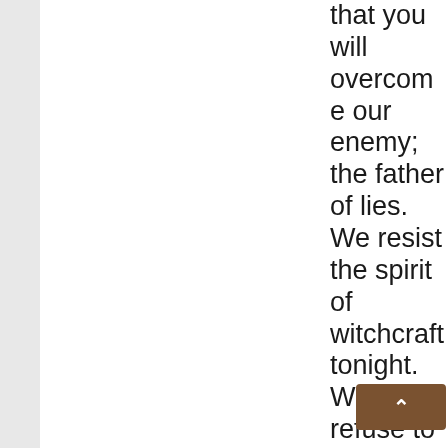that you will overcome our enemy; the father of lies. We resist the spirit of witchcraft tonight. We refuse to listen to this fallen worshiper of God, satan. I beheld satan fall from heaven. Lord, thi[s] of ma[n] [w]as